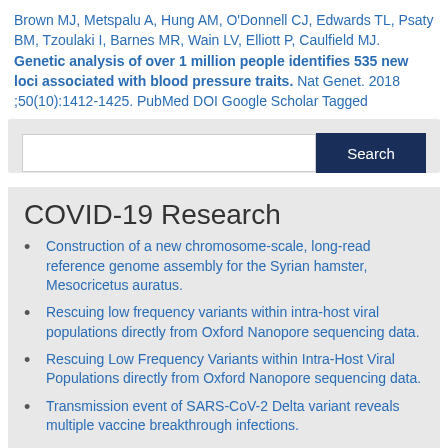Brown MJ, Metspalu A, Hung AM, O'Donnell CJ, Edwards TL, Psaty BM, Tzoulaki I, Barnes MR, Wain LV, Elliott P, Caulfield MJ. Genetic analysis of over 1 million people identifies 535 new loci associated with blood pressure traits. Nat Genet. 2018 ;50(10):1412-1425. PubMed DOI Google Scholar Tagged
COVID-19 Research
Construction of a new chromosome-scale, long-read reference genome assembly for the Syrian hamster, Mesocricetus auratus.
Rescuing low frequency variants within intra-host viral populations directly from Oxford Nanopore sequencing data.
Rescuing Low Frequency Variants within Intra-Host Viral Populations directly from Oxford Nanopore sequencing data.
Transmission event of SARS-CoV-2 Delta variant reveals multiple vaccine breakthrough infections.